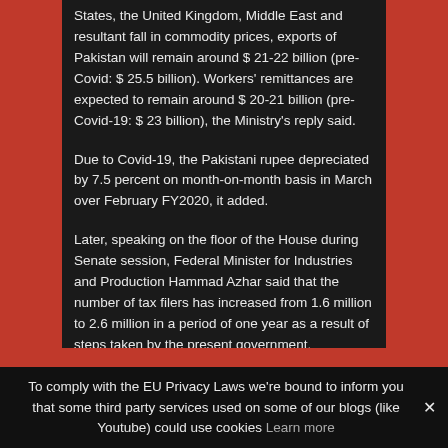States, the United Kingdom, Middle East and resultant fall in commodity prices, exports of Pakistan will remain around $ 21-22 billion (pre-Covid: $ 25.5 billion). Workers' remittances are expected to remain around $ 20-21 billion (pre-Covid-19: $ 23 billion), the Ministry's reply said.
Due to Covid-19, the Pakistani rupee depreciated by 7.5 percent on month-on-month basis in March over February FY2020, it added.
Later, speaking on the floor of the House during Senate session, Federal Minister for Industries and Production Hammad Azhar said that the number of tax filers has increased from 1.6 million to 2.6 million in a period of one year as a result of steps taken by the present government.
He said, Pakistan's tax collection also witnessed a 27 per cent growth before the coronavirus outbreak. The post-
To comply with the EU Privacy Laws we're bound to inform you that some third party services used on some of our blogs (like Youtube) could use cookies Learn more